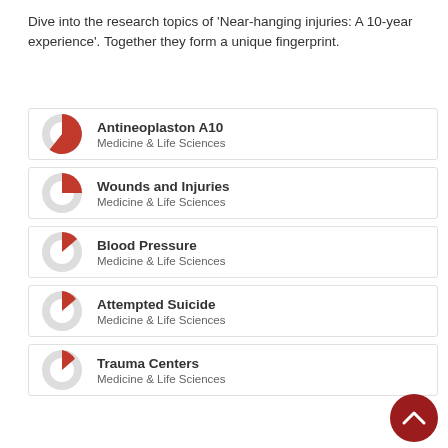Dive into the research topics of 'Near-hanging injuries: A 10-year experience'. Together they form a unique fingerprint.
Antineoplaston A10 — Medicine & Life Sciences
Wounds and Injuries — Medicine & Life Sciences
Blood Pressure — Medicine & Life Sciences
Attempted Suicide — Medicine & Life Sciences
Trauma Centers — Medicine & Life Sciences